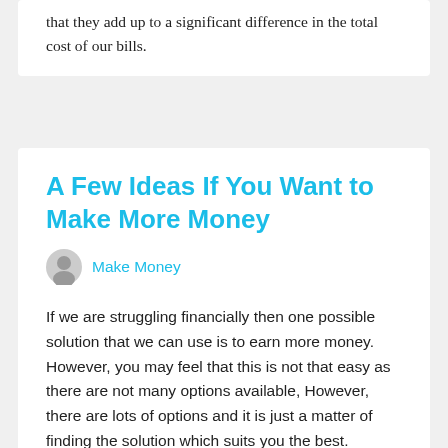that they add up to a significant difference in the total cost of our bills.
A Few Ideas If You Want to Make More Money
Make Money
If we are struggling financially then one possible solution that we can use is to earn more money. However, you may feel that this is not that easy as there are not many options available, However, there are lots of options and it is just a matter of finding the solution which suits you the best.
Change job
If you have a job and are not satisfied with what it pays then it can be worth looking for an alternative job. It can be difficult to change jobs, particularly if you have been